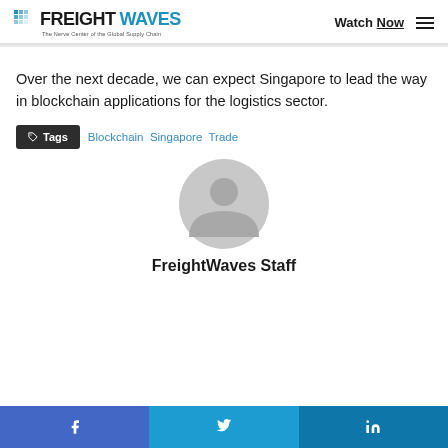FREIGHTWAVES - The Nerve Center of the Global Supply Chain | Watch Now
Over the next decade, we can expect Singapore to lead the way in blockchain applications for the logistics sector.
Tags  Blockchain  Singapore  Trade
[Figure (illustration): Circular grey placeholder avatar icon showing a silhouette of a person]
FreightWaves Staff
Facebook | Twitter | LinkedIn social share buttons